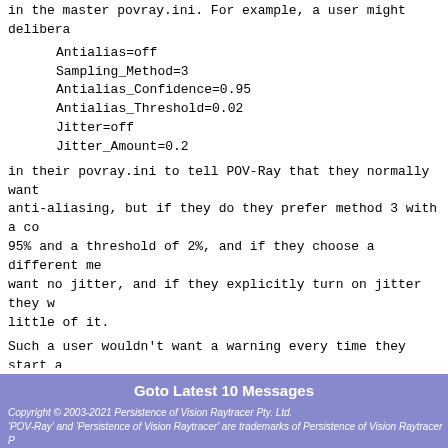in the master povray.ini. For example, a user might delibera
Antialias=off
Sampling_Method=3
Antialias_Confidence=0.95
Antialias_Threshold=0.02
Jitter=off
Jitter_Amount=0.2
in their povray.ini to tell POV-Ray that they normally want anti-aliasing, but if they do they prefer method 3 with a co 95% and a threshold of 2%, and if they choose a different me want no jitter, and if they explicitly turn on jitter they w little of it.
Such a user wouldn't want a warning every time they start a
The portions of POV-Ray concerned with the /semantics/ of th command-line settings cannot tell whether they came from a p quickres.ini, a scene-specific ini or the command-line, whet were specified using ini file style or command-line style, n order in which they were issued, so they are unable to tell specific settings were intentional as in the above example, mistake as might be presumed in a `+am3 -j` command-line.
Post a reply to this message
Goto Latest 10 Messages
Copyright © 2003-2021 Persistence of Vision Raytracer Pty. Ltd.
'POV-Ray' and 'Persistence of Vision Raytracer' are trademarks of Persistence of Vision Raytracer P